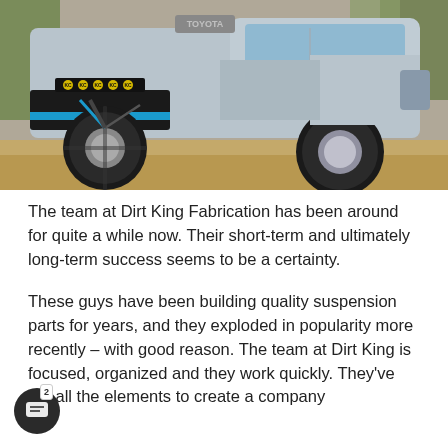[Figure (photo): A lifted silver Toyota Tacoma pickup truck with oversized off-road tires, KC lights on a custom front bumper, and blue accents, photographed from the front-left angle on a dirt/sandy surface outdoors.]
The team at Dirt King Fabrication has been around for quite a while now. Their short-term and ultimately long-term success seems to be a certainty.
These guys have been building quality suspension parts for years, and they exploded in popularity more recently – with good reason. The team at Dirt King is focused, organized and they work quickly. They've got all the elements to create a company